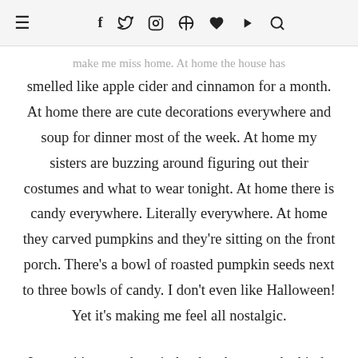☰  f  𝓽  📷  ℗  ♥  ▶  🔍
make me miss home. At home the house has smelled like apple cider and cinnamon for a month. At home there are cute decorations everywhere and soup for dinner most of the week. At home my sisters are buzzing around figuring out their costumes and what to wear tonight. At home there is candy everywhere. Literally everywhere. At home they carved pumpkins and they're sitting on the front porch. There's a bowl of roasted pumpkin seeds next to three bowls of candy. I don't even like Halloween! Yet it's making me feel all nostalgic.
I guess it's a good reminder that these are the kinds of memories I want my kids to have.